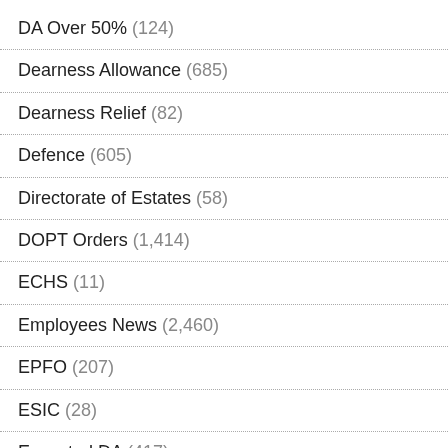DA Over 50% (124)
Dearness Allowance (685)
Dearness Relief (82)
Defence (605)
Directorate of Estates (58)
DOPT Orders (1,414)
ECHS (11)
Employees News (2,460)
EPFO (207)
ESIC (28)
Expected DA (417)
expected da january 2020 (9)